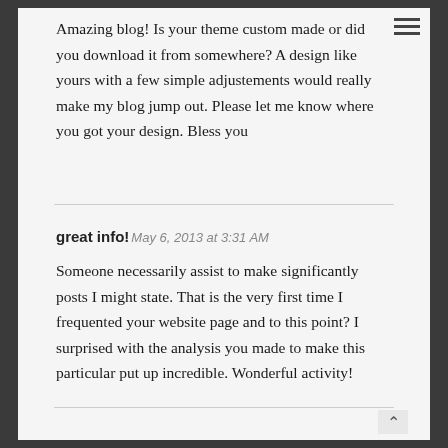Amazing blog! Is your theme custom made or did you download it from somewhere? A design like yours with a few simple adjustements would really make my blog jump out. Please let me know where you got your design. Bless you
great info! May 6, 2013 at 3:31 AM
Someone necessarily assist to make significantly posts I might state. That is the very first time I frequented your website page and to this point? I surprised with the analysis you made to make this particular put up incredible. Wonderful activity!